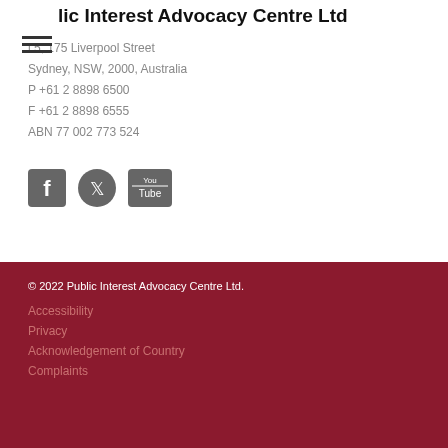lic Interest Advocacy Centre Ltd
l 5, 175 Liverpool Street
Sydney, NSW, 2000, Australia
P +61 2 8898 6500
F +61 2 8898 6555
ABN 77 002 773 524
[Figure (illustration): Social media icons: Facebook, Twitter, YouTube]
© 2022 Public Interest Advocacy Centre Ltd.
Accessibility
Privacy
Acknowledgement of Country
Complaints